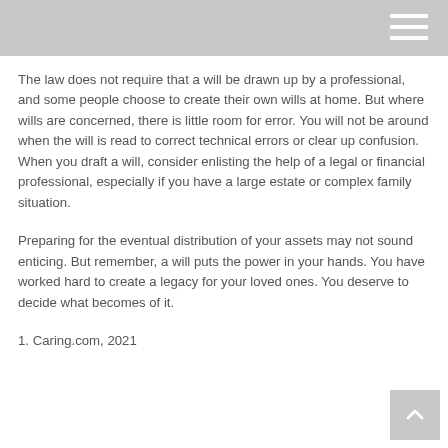The law does not require that a will be drawn up by a professional, and some people choose to create their own wills at home. But where wills are concerned, there is little room for error. You will not be around when the will is read to correct technical errors or clear up confusion. When you draft a will, consider enlisting the help of a legal or financial professional, especially if you have a large estate or complex family situation.
Preparing for the eventual distribution of your assets may not sound enticing. But remember, a will puts the power in your hands. You have worked hard to create a legacy for your loved ones. You deserve to decide what becomes of it.
1. Caring.com, 2021